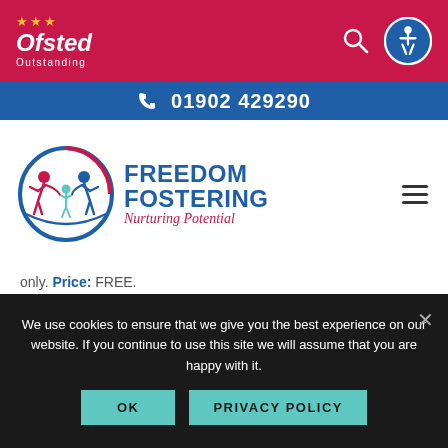[Figure (logo): Ofsted Outstanding logo with stars, search icon, and accessibility icon on crimson header bar]
01902 429290
[Figure (logo): Freedom Fostering logo with circular emblem showing people figures and text 'FREEDOM FOSTERING Nurturing Potential']
only. Price: FREE.
We use cookies to ensure that we give you the best experience on our website. If you continue to use this site we will assume that you are happy with it.
OK
PRIVACY POLICY